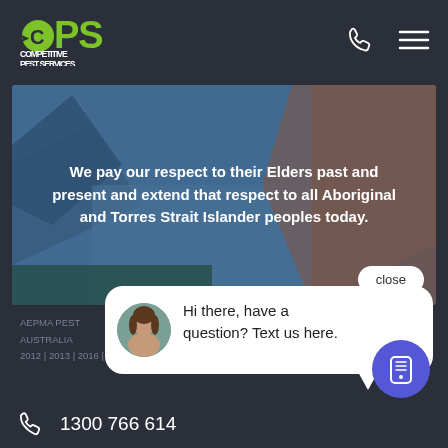[Figure (logo): CPS Competitive Pest Services green logo]
[Figure (photo): Coastal and red sand landscape banner with semi-transparent blue overlay and text: We pay our respect to their Elders past and present and extend that respect to all Aboriginal and Torres Strait Islander peoples today. Close button in bottom right.]
We pay our respect to their Elders past and present and extend that respect to all Aboriginal and Torres Strait Islander peoples today.
Hi there, have a question? Text us here.
AEPMA PEST
AUSTRALIA
2012 | 2013 | 2016 | 2017
1300 766 614